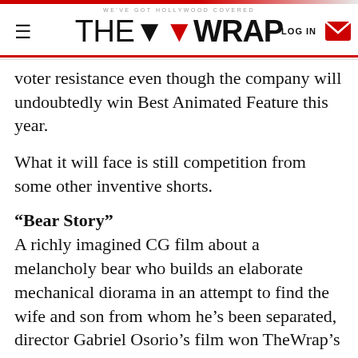WE'VE GOT HOLLYWOOD COVERED | THE WRAP | LOG IN
voter resistance even though the company will undoubtedly win Best Animated Feature this year.
What it will face is still competition from some other inventive shorts.
“Bear Story”
A richly imagined CG film about a melancholy bear who builds an elaborate mechanical diorama in an attempt to find the wife and son from whom he’s been separated, director Gabriel Osorio’s film won TheWrap’s ShortList Film Festival in August. Voters have often responded to personal stories in the animated shorts, so this could be a real contender –